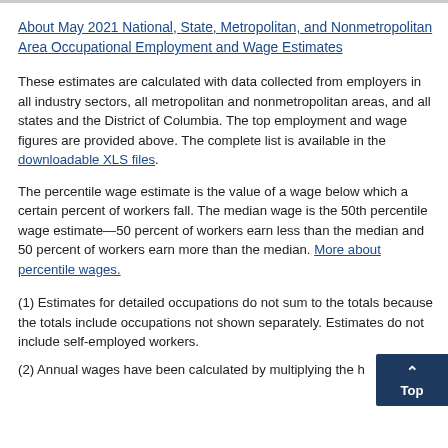About May 2021 National, State, Metropolitan, and Nonmetropolitan Area Occupational Employment and Wage Estimates
These estimates are calculated with data collected from employers in all industry sectors, all metropolitan and nonmetropolitan areas, and all states and the District of Columbia. The top employment and wage figures are provided above. The complete list is available in the downloadable XLS files.
The percentile wage estimate is the value of a wage below which a certain percent of workers fall. The median wage is the 50th percentile wage estimate—50 percent of workers earn less than the median and 50 percent of workers earn more than the median. More about percentile wages.
(1) Estimates for detailed occupations do not sum to the totals because the totals include occupations not shown separately. Estimates do not include self-employed workers.
(2) Annual wages have been calculated by multiplying the hourly mean wage by a "year-round, full-time" hours figure of 2,080 hours;